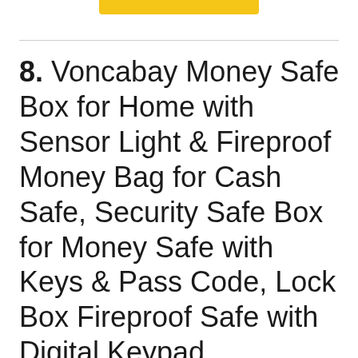8. Voncabay Money Safe Box for Home with Sensor Light & Fireproof Money Bag for Cash Safe, Security Safe Box for Money Safe with Keys & Pass Code, Lock Box Fireproof Safe with Digital Keypad